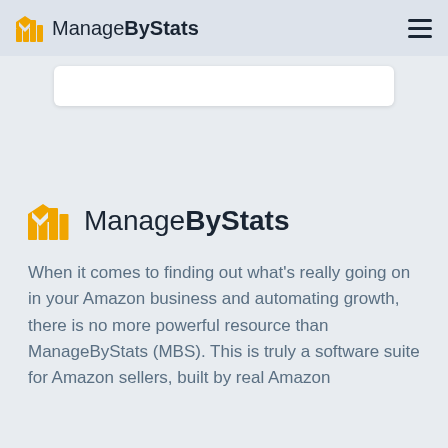ManageByStats
[Figure (other): White rounded rectangle card (partial form element)]
[Figure (logo): ManageByStats logo: orange bar chart icon with M shape, followed by ManageByStats text in dark navy]
When it comes to finding out what's really going on in your Amazon business and automating growth, there is no more powerful resource than ManageByStats (MBS). This is truly a software suite for Amazon sellers, built by real Amazon